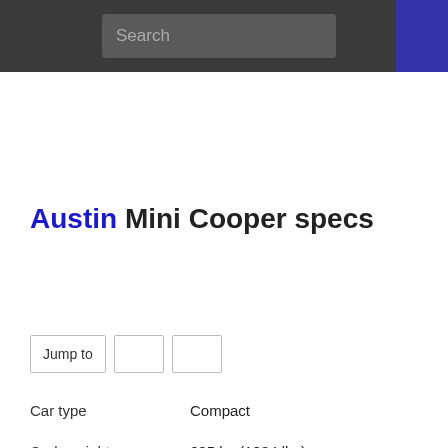Search
Austin Mini Cooper specs
Jump to
| Property | Value |
| --- | --- |
| Car type | Compact |
| Curb weight | 605 kg (1334 lbs) |
| Dimensions | 3.05 m (120 in) long, 1.41 m (56 in) wide, 1.34 m (53 in) high |
| Wheelbase | 2.04 m (80 in) |